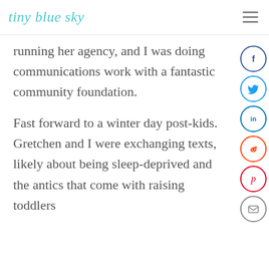tiny blue sky
running her agency, and I was doing communications work with a fantastic community foundation.
Fast forward to a winter day post-kids. Gretchen and I were exchanging texts, likely about being sleep-deprived and the antics that come with raising toddlers
[Figure (other): Social media sharing sidebar with circular icon buttons: Facebook (blue), Twitter (light blue), LinkedIn (blue), Reddit (orange-red), Pinterest (red), Email (grey)]